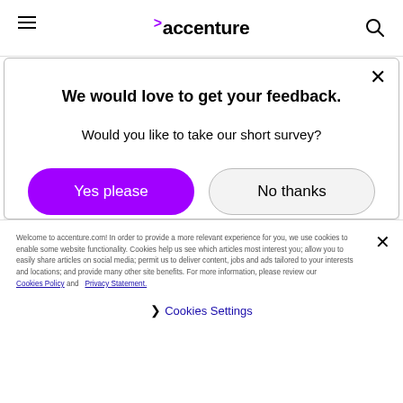accenture
We would love to get your feedback.
Would you like to take our short survey?
Yes please
No thanks
Sustainable IT and technologies
Welcome to accenture.com! In order to provide a more relevant experience for you, we use cookies to enable some website functionality. Cookies help us see which articles most interest you; allow you to easily share articles on social media; permit us to deliver content, jobs and ads tailored to your interests and locations; and provide many other site benefits. For more information, please review our Cookies Policy and Privacy Statement.
❯ Cookies Settings